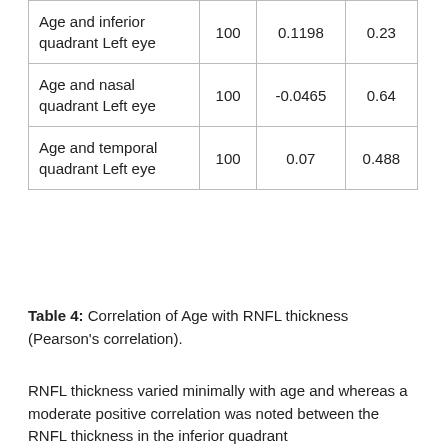| Variable | N | r value | p value |
| --- | --- | --- | --- |
| Age and inferior quadrant Left eye | 100 | 0.1198 | 0.23 |
| Age and nasal quadrant Left eye | 100 | -0.0465 | 0.64 |
| Age and temporal quadrant Left eye | 100 | 0.07 | 0.488 |
Table 4: Correlation of Age with RNFL thickness (Pearson's correlation).
RNFL thickness varied minimally with age and whereas a moderate positive correlation was noted between the RNFL thickness in the inferior quadrant